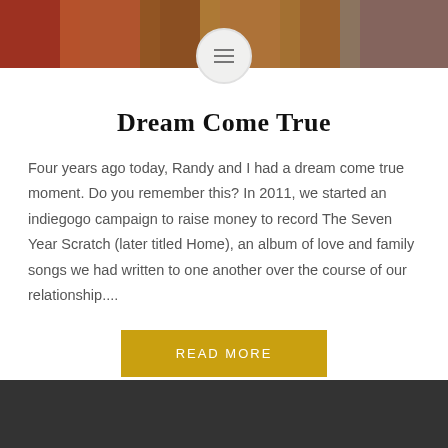[Figure (photo): Top banner showing a group photo of people in colorful clothing with red and warm tones]
Dream Come True
Four years ago today, Randy and I had a dream come true moment. Do you remember this? In 2011, we started an indiegogo campaign to raise money to record The Seven Year Scratch (later titled Home), an album of love and family songs we had written to one another over the course of our relationship....
READ MORE